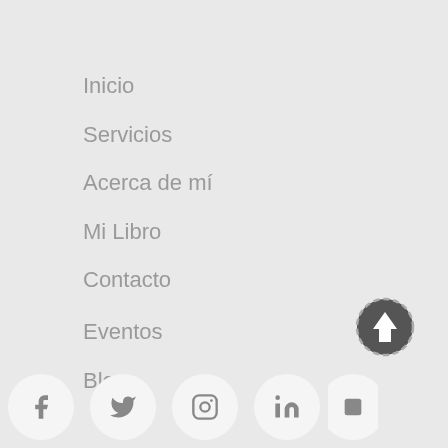Inicio
Servicios
Acerca de mí
Mi Libro
Contacto
Eventos
Blog
[Figure (other): Scroll to top button - circular arrow up icon with dashed border]
[Figure (other): Social media icons row: Facebook, Twitter, Instagram, LinkedIn circular buttons]